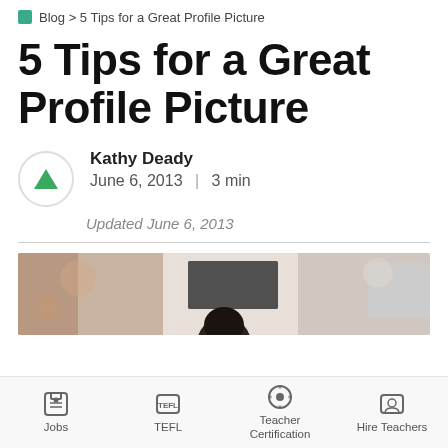Blog > 5 Tips for a Great Profile Picture
5 Tips for a Great Profile Picture
Kathy Deady
June 6, 2013 | 3 min
Updated June 6, 2013
[Figure (photo): Photo of a person from behind at a desk, blurred background with bokeh effect]
Jobs | TEFL | Teacher Certification | Hire Teachers